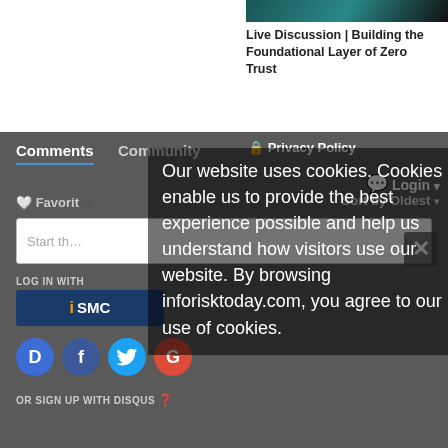[Figure (screenshot): Thumbnail image for article about Zero Trust]
Live Discussion | Building the Foundational Layer of Zero Trust
Comments    Community
🔒 Privacy Policy
💬 Login ▾
🤍 Favorites
Sort by Oldest ▾
Start th…
LOG IN WITH
iSMC
[Figure (illustration): Social login icons: Disqus (D), Facebook (f), Twitter bird, Google (G)]
OR SIGN UP WITH DISQUS
Our website uses cookies. Cookies enable us to provide the best experience possible and help us understand how visitors use our website. By browsing inforisktoday.com, you agree to our use of cookies.